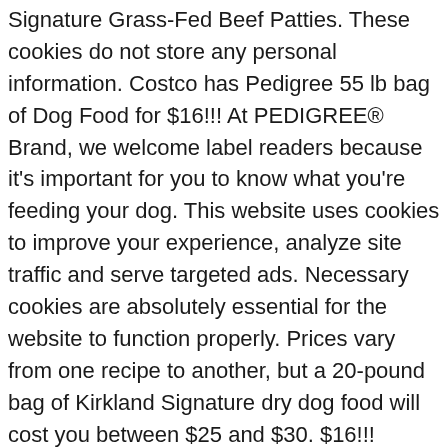Signature Grass-Fed Beef Patties. These cookies do not store any personal information. Costco has Pedigree 55 lb bag of Dog Food for $16!!! At PEDIGREE® Brand, we welcome label readers because it's important for you to know what you're feeding your dog. This website uses cookies to improve your experience, analyze site traffic and serve targeted ads. Necessary cookies are absolutely essential for the website to function properly. Prices vary from one recipe to another, but a 20-pound bag of Kirkland Signature dry dog food will cost you between $25 and $30. $16!!! Kirkland Signature Nature's Domain Salmon Meal & Sweet Potato Formula Dog Food 15.87kg. Every dog deserves the best… that's why PEDIGREE Complete Nutrition Dry Dog Food delivers 100% complete and balanced nutrition for your adult dog. They are formulated for the 4 universal needs of all dogs … Some of their competitors have a much better taste than they do. Based on its ingredients alone, Pedigree Dog Food looks like a below-average dry product. This balanced dog food is packed with vitamin E antioxidants to nourish your dog's immune system and omega-6 fatty acids to give them a healthy, shiny coat.